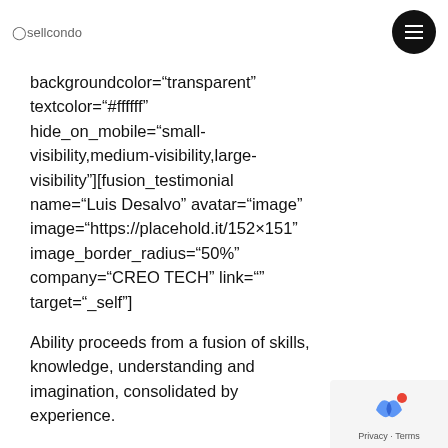Sellcondo
backgroundcolor="transparent" textcolor="#ffffff" hide_on_mobile="small-visibility,medium-visibility,large-visibility"][fusion_testimonial name="Luis Desalvo" avatar="image" image="https://placehold.it/152×151" image_border_radius="50%" company="CREO TECH" link="" target="_self"]
Ability proceeds from a fusion of skills, knowledge, understanding and imagination, consolidated by experience.